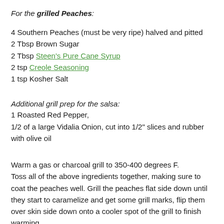For the grilled Peaches:
4 Southern Peaches (must be very ripe) halved and pitted
2 Tbsp Brown Sugar
2 Tbsp Steen's Pure Cane Syrup
2 tsp Creole Seasoning
1 tsp Kosher Salt
Additional grill prep for the salsa:
1 Roasted Red Pepper,
1/2 of a large Vidalia Onion, cut into 1/2" slices and rubber with olive oil
Warm a gas or charcoal grill to 350-400 degrees F. Toss all of the above ingredients together, making sure to coat the peaches well. Grill the peaches flat side down until they start to caramelize and get some grill marks, flip them over skin side down onto a cooler spot of the grill to finish warming